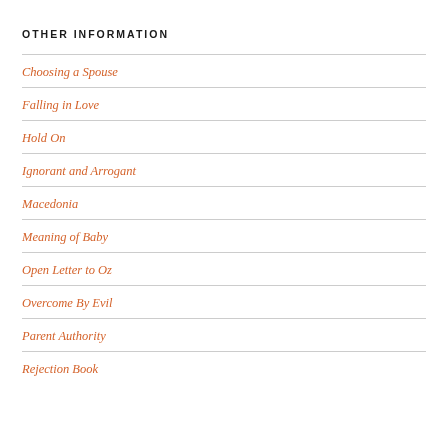OTHER INFORMATION
Choosing a Spouse
Falling in Love
Hold On
Ignorant and Arrogant
Macedonia
Meaning of Baby
Open Letter to Oz
Overcome By Evil
Parent Authority
Rejection Book